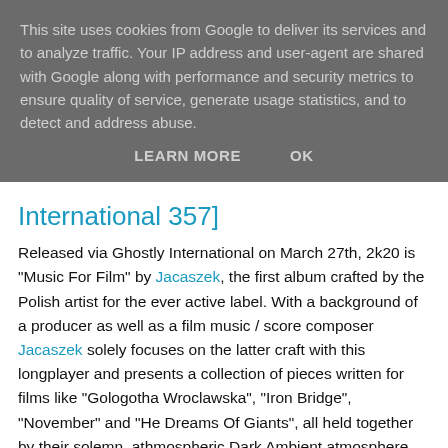This site uses cookies from Google to deliver its services and to analyze traffic. Your IP address and user-agent are shared with Google along with performance and security metrics to ensure quality of service, generate usage statistics, and to detect and address abuse.
LEARN MORE   OK
International 357]
Released via Ghostly International on March 27th, 2k20 is "Music For Film" by Jacaszek, the first album crafted by the Polish artist for the ever active label. With a background of a producer as well as a film music / score composer Jacaszek solely focuses on the latter craft with this longplayer and presents a collection of pieces written for films like "Gologotha Wroclawska", "Iron Bridge", "November" and "He Dreams Of Giants", all held together by their solemn, athmospheric Dark Ambient atmosphere infused with echoes of echoes of (Neo)Classical composition and a certain feel of romanticism which is especially about to speak to those fascinated by Wolfgang Voigt's GAS works or pieces like